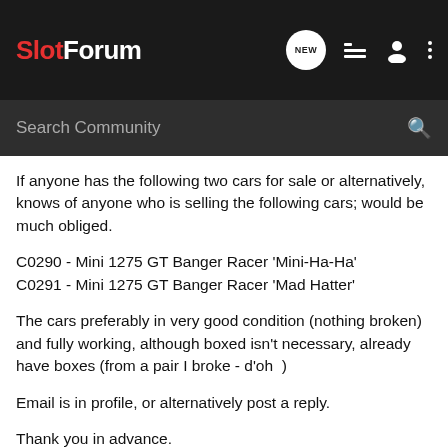SlotForum — navigation header with search bar
If anyone has the following two cars for sale or alternatively, knows of anyone who is selling the following cars; would be much obliged.
C0290 - Mini 1275 GT Banger Racer 'Mini-Ha-Ha'
C0291 - Mini 1275 GT Banger Racer 'Mad Hatter'
The cars preferably in very good condition (nothing broken) and fully working, although boxed isn't necessary, already have boxes (from a pair I broke - d'oh  )
Email is in profile, or alternatively post a reply.
Thank you in advance.